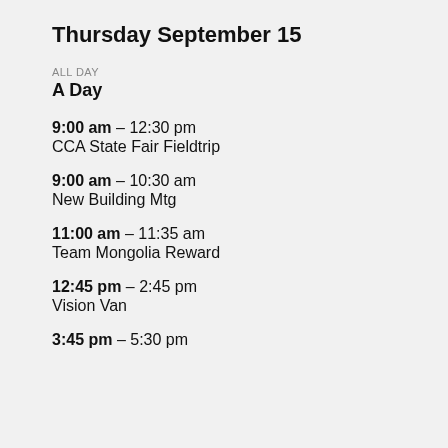Thursday September 15
ALL DAY
A Day
9:00 am – 12:30 pm
CCA State Fair Fieldtrip
9:00 am – 10:30 am
New Building Mtg
11:00 am – 11:35 am
Team Mongolia Reward
12:45 pm – 2:45 pm
Vision Van
3:45 pm – 5:30 pm